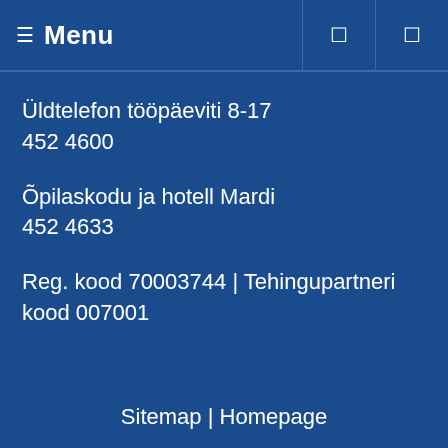☰  Menu
Üldtelefon tööpäeviti 8-17
452 4600
Õpilaskodu ja hotell Mardi
452 4633
Reg. kood 70003744 | Tehingupartneri kood 007001
Sitemap | Homepage